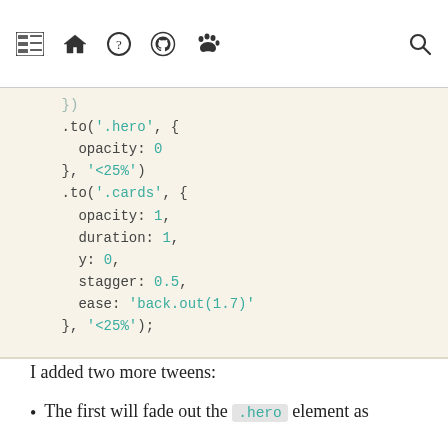[Figure (screenshot): Website navigation bar with icons: menu/list, home, coin/badge, GitHub, paw print, and search]
})
    .to('.hero', {
      opacity: 0
    }, '<25%')
    .to('.cards', {
      opacity: 1,
      duration: 1,
      y: 0,
      stagger: 0.5,
      ease: 'back.out(1.7)'
    }, '<25%');
I added two more tweens:
The first will fade out the .hero element as